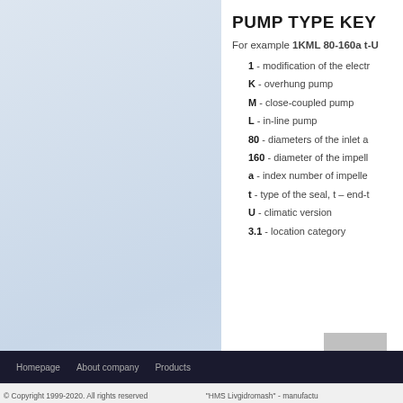PUMP TYPE KEY
For example 1KML 80-160a t-U3.1
1 - modification of the electro
K - overhung pump
M - close-coupled pump
L - in-line pump
80 - diameters of the inlet a
160 - diameter of the impell
a - index number of impelle
t - type of the seal, t – end-t
U - climatic version
3.1 - location category
© Copyright 1999-2020. All rights reserved. "HMS Livgidromash" - manufacture